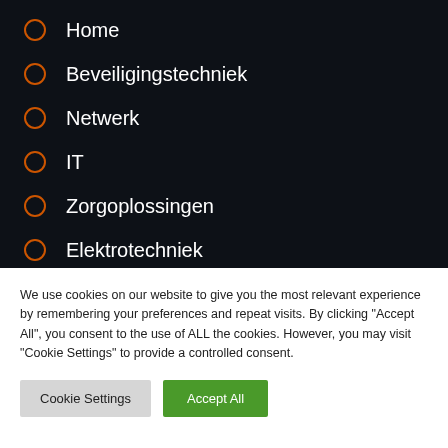Home
Beveiligingstechniek
Netwerk
IT
Zorgoplossingen
Elektrotechniek
We use cookies on our website to give you the most relevant experience by remembering your preferences and repeat visits. By clicking "Accept All", you consent to the use of ALL the cookies. However, you may visit "Cookie Settings" to provide a controlled consent.
Cookie Settings | Accept All